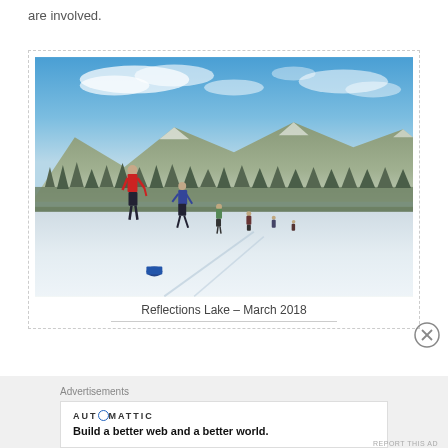are involved.
[Figure (photo): Winter outdoor scene at Reflections Lake showing several people walking across a snow-covered frozen lake, with snow-dusted conifer forests and mountains in the background under a blue sky with clouds. A person in a red jacket stands in the foreground with a blue bucket nearby.]
Reflections Lake – March 2018
Advertisements
AUTOMATTIC
Build a better web and a better world.